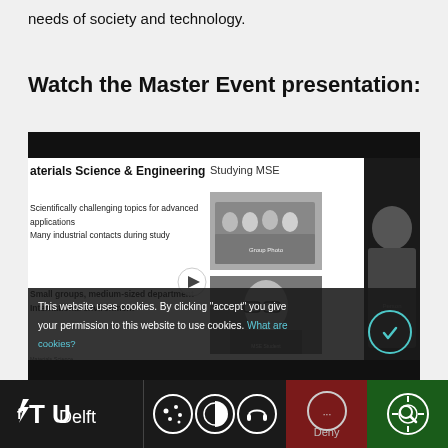needs of society and technology.
Watch the Master Event presentation:
[Figure (screenshot): Screenshot of a video player showing a presentation slide for Materials Science & Engineering at TU Delft, with slide content showing 'Studying MSE', bullet points, and photos. A cookie consent overlay is visible at the bottom of the video.]
[Figure (screenshot): Bottom toolbar of a website showing TU Delft logo, cookie settings icons, deny and accept buttons for cookie consent.]